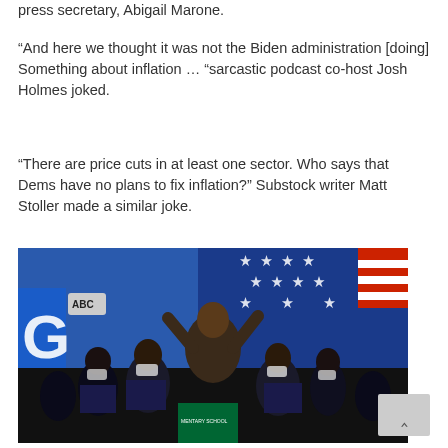press secretary, Abigail Marone.
“And here we thought it was not the Biden administration [doing] Something about inflation … “sarcastic podcast co-host Josh Holmes joked.
“There are price cuts in at least one sector. Who says that Dems have no plans to fix inflation?” Substock writer Matt Stoller made a similar joke.
[Figure (photo): Photo of Kamala Harris smiling and raising her hand with a crowd of people, many wearing masks, in front of a blue background with white stars (American flag motif). A letter G and ABC signs visible on the left.]